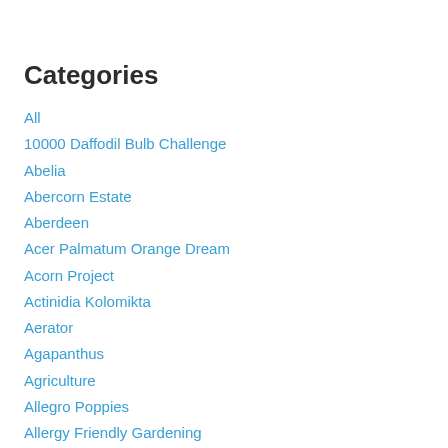Categories
All
10000 Daffodil Bulb Challenge
Abelia
Abercorn Estate
Aberdeen
Acer Palmatum Orange Dream
Acorn Project
Actinidia Kolomikta
Aerator
Agapanthus
Agriculture
Allegro Poppies
Allergy Friendly Gardening
Alliums
Allium Triquetrum
Aloe Vera